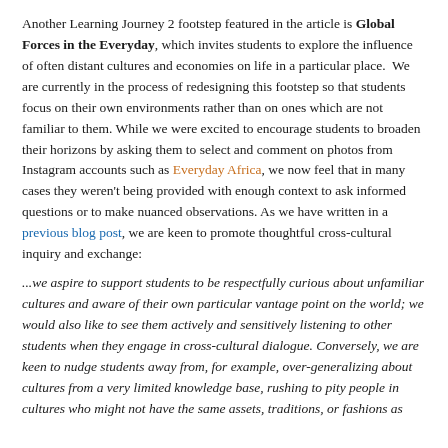Another Learning Journey 2 footstep featured in the article is Global Forces in the Everyday, which invites students to explore the influence of often distant cultures and economies on life in a particular place.  We are currently in the process of redesigning this footstep so that students focus on their own environments rather than on ones which are not familiar to them. While we were excited to encourage students to broaden their horizons by asking them to select and comment on photos from Instagram accounts such as Everyday Africa, we now feel that in many cases they weren't being provided with enough context to ask informed questions or to make nuanced observations. As we have written in a previous blog post, we are keen to promote thoughtful cross-cultural inquiry and exchange:
...we aspire to support students to be respectfully curious about unfamiliar cultures and aware of their own particular vantage point on the world; we would also like to see them actively and sensitively listening to other students when they engage in cross-cultural dialogue. Conversely, we are keen to nudge students away from, for example, over-generalizing about cultures from a very limited knowledge base, rushing to pity people in cultures who might not have the same assets, traditions, or fashions as